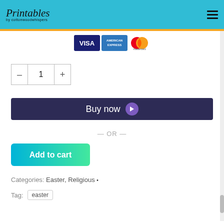Printables by cottonwoodwhispers
[Figure (logo): Visa, American Express, Mastercard payment icons]
[Figure (other): Quantity selector showing value 1 with minus and plus buttons]
[Figure (other): Buy now button with purple arrow icon]
— OR —
[Figure (other): Add to cart button with teal to green gradient]
Categories: Easter, Religious
Tag: easter